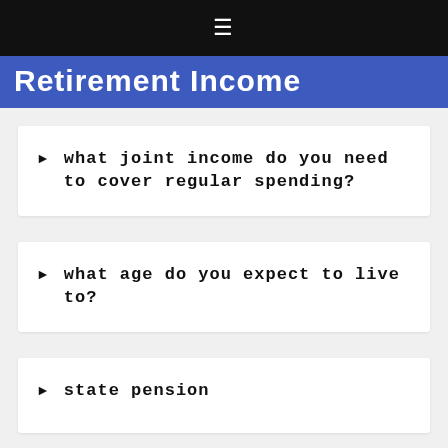≡
Retirement Income
what joint income do you need to cover regular spending?
what age do you expect to live to?
state pension